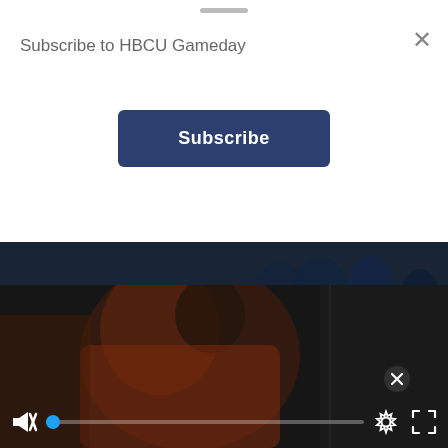Subscribe to HBCU Gameday
Subscribe
[Figure (photo): Football players in blue uniforms crouching on a field, with article title overlay: Should your CIAA football team panic after Week One]
Should your CIAA football team panic after Week One
[Figure (screenshot): Video player showing a football player in an orange jersey with playback controls (skip back, play, skip forward), mute button, progress bar with blue dot, settings gear icon, fullscreen icon, and close button]